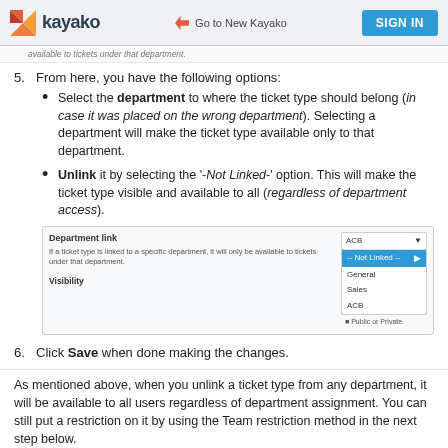kayako | Go to New Kayako | SIGN IN
available to tickets under that department.
5. From here, you have the following options:
Select the department to where the ticket type should belong (in case it was placed on the wrong department). Selecting a department will make the ticket type available only to that department.
Unlink it by selecting the '-Not Linked-' option. This will make the ticket type visible and available to all (regardless of department access).
[Figure (screenshot): Screenshot showing a Department link field with a dropdown menu open displaying options: ACB (top), -- Not Linked -- (highlighted in blue), General, Sales, ACB. Below is a Visibility field showing Public or Private.]
6. Click Save when done making the changes.
As mentioned above, when you unlink a ticket type from any department, it will be available to all users regardless of department assignment. You can still put a restriction on it by using the Team restriction method in the next step below.